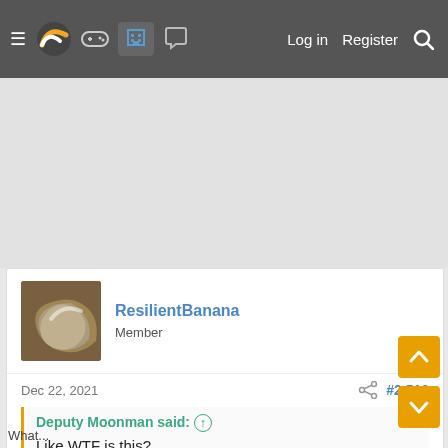≡ [logo] [gamepad] [building] [chat] Log in  Register  🔍
[Figure (other): Grey advertisement placeholder area]
ResilientBanana
Member
Dec 22, 2021    #2,516
Deputy Moonman said: ↑
Like WTF is this?
What...